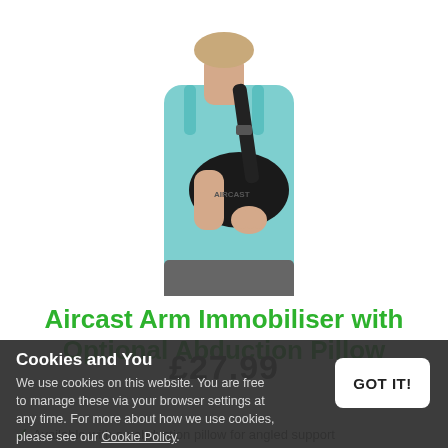[Figure (photo): Woman wearing a black Aircast arm immobiliser/sling with shoulder strap, dressed in a light blue tank top and grey pants, shown from neck to waist on white background]
Aircast Arm Immobiliser with Optional Abduction Pillow
£27.99
Cookies and You
We use cookies on this website. You are free to manage these via your browser settings at any time. For more about how we use cookies, please see our Cookie Policy.
GOT IT!
Available with an abduction pillow for angled support